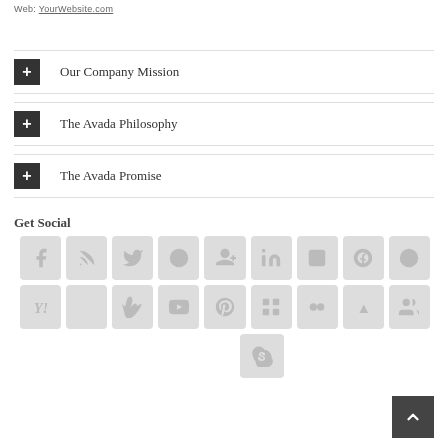Web: YourWebsite.com
Our Company Mission
The Avada Philosophy
The Avada Promise
Get Social
[Figure (infographic): Social media icon buttons grid: Facebook, RSS, Twitter, Dribbble, Google+, LinkedIn, Blogger, Tumblr, Reddit, Yahoo, (blank), Vimeo, YouTube, Pinterest, (grid icon), Flickr, (A icon), (people icon), Skype]
[Figure (other): Back to top arrow button (dark square with upward chevron)]